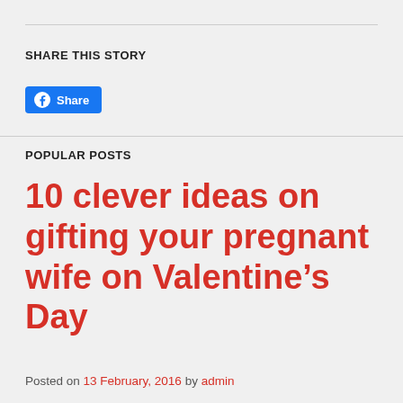SHARE THIS STORY
[Figure (other): Facebook Share button with blue background and share icon]
POPULAR POSTS
10 clever ideas on gifting your pregnant wife on Valentine’s Day
Posted on 13 February, 2016 by admin